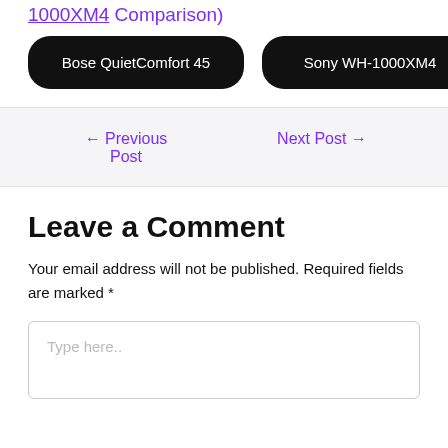1000XM4 Comparison)
Bose QuietComfort 45
Sony WH-1000XM4
← Previous Post
Next Post →
Leave a Comment
Your email address will not be published. Required fields are marked *
Type here..